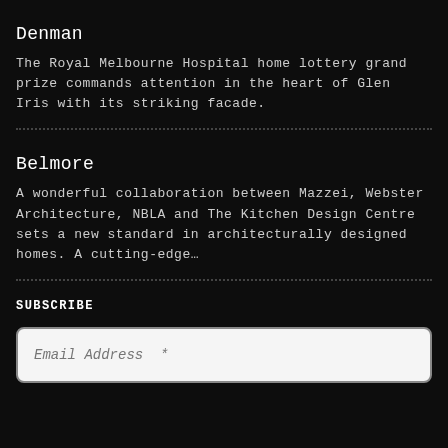Denman
The Royal Melbourne Hospital home lottery grand prize commands attention in the heart of Glen Iris with its striking facade.
Belmore
A wonderful collaboration between Mazzei, Webster Architecture, NBLA and The Kitchen Design Centre sets a new standard in architecturally designed homes. A cutting-edge…
SUBSCRIBE
Email Address *